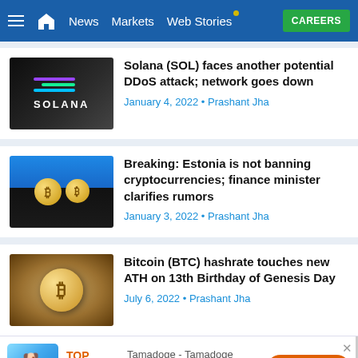News | Markets | Web Stories | CAREERS
[Figure (photo): Solana logo on dark background with server/grid texture]
Solana (SOL) faces another potential DDoS attack; network goes down
January 4, 2022 • Prashant Jha
[Figure (photo): Bitcoin gold coins with a justice scale figurine against blue and black background]
Breaking: Estonia is not banning cryptocurrencies; finance minister clarifies rumors
January 3, 2022 • Prashant Jha
[Figure (photo): Gold Bitcoin coin on cracked circuit board texture]
Bitcoin (BTC) hashrate touches new ATH on 13th Birthday of Genesis Day
July 6, 2022 • Prashant Jha
TOP TRENDING CRYPTO — Tamadoge - Tamadoge raises $500k in last 24 hours — INVEST NOW